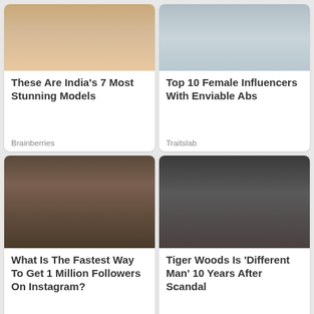[Figure (photo): Close-up portrait of a woman with dark hair and bold lips, city buildings in background]
These Are India's 7 Most Stunning Models
Brainberries
[Figure (photo): Woman in athletic gray sports bra and shorts showing toned abs, outdoor background]
Top 10 Female Influencers With Enviable Abs
Traitslab
[Figure (photo): Two people in a room, one with blonde wig and one taking a selfie]
What Is The Fastest Way To Get 1 Million Followers On Instagram?
Brainberries
[Figure (photo): A man and woman close together at what appears to be a sporting event]
Tiger Woods Is 'Different Man' 10 Years After Scandal
Herbeauty
[Figure (photo): Partial view of a woman, bottom card cropped]
[Figure (photo): Partial view of another image, bottom card cropped]